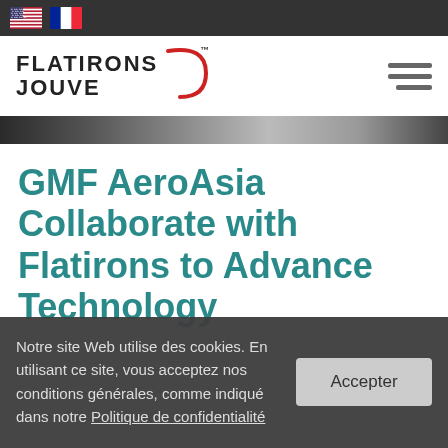Flag bar with US and French flags
[Figure (logo): Flatirons Jouve logo with red arc and hamburger menu icon]
[Figure (photo): Hero image strip — dark panoramic photo]
GMF AeroAsia Collaborate with Flatirons to Advance Technology
Notre site Web utilise des cookies. En utilisant ce site, vous acceptez nos conditions générales, comme indiqué dans notre Politique de confidentialité
Accepter